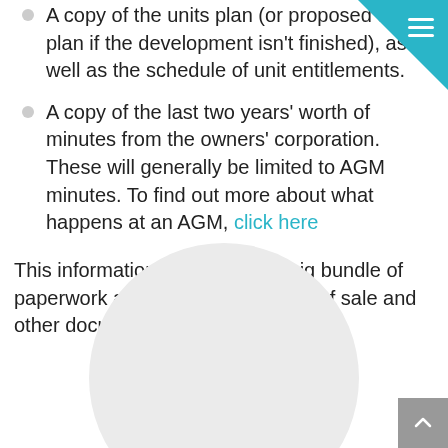A copy of the units plan (or proposed units plan if the development isn't finished), as well as the schedule of unit entitlements.
A copy of the last two years' worth of minutes from the owners' corporation. These will generally be limited to AGM minutes. To find out more about what happens at an AGM, click here
This information will arrive in a big bundle of paperwork along with the contract of sale and other documents.
[Figure (illustration): A circular grey avatar/person placeholder image, partially visible at the bottom of the page.]